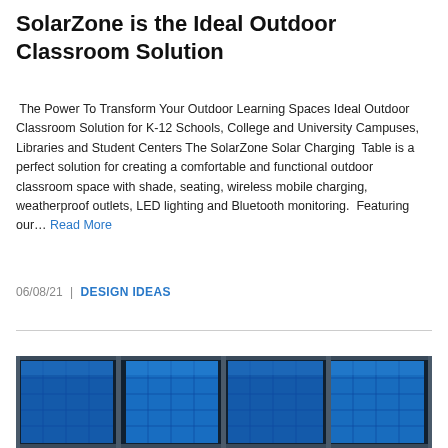SolarZone is the Ideal Outdoor Classroom Solution
The Power To Transform Your Outdoor Learning Spaces Ideal Outdoor Classroom Solution for K-12 Schools, College and University Campuses, Libraries and Student Centers The SolarZone Solar Charging Table is a perfect solution for creating a comfortable and functional outdoor classroom space with shade, seating, wireless mobile charging, weatherproof outlets, LED lighting and Bluetooth monitoring. Featuring our… Read More
06/08/21 | DESIGN IDEAS
[Figure (photo): Underside view of a solar panel canopy structure with bright blue solar cells and metal framing visible from below, likely a SolarZone outdoor solar charging table canopy.]